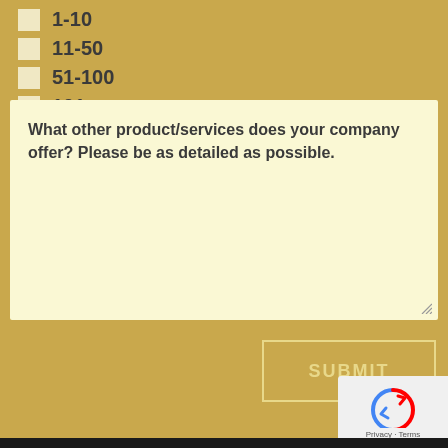1-10
11-50
51-100
101+
What other product/services does your company offer? Please be as detailed as possible.
SUBMIT